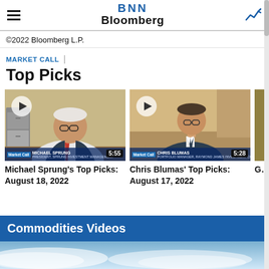BNN Bloomberg
©2022 Bloomberg L.P.
MARKET CALL
Top Picks
[Figure (screenshot): Video thumbnail: Michael Sprung, President, Sprung Investment Management. Duration badge: 5:55. Market Call lower bar overlay.]
Michael Sprung's Top Picks: August 18, 2022
[Figure (screenshot): Video thumbnail: Chris Blumas, Portfolio Manager, Raymond James Investment Co. Duration badge: 5:28. Market Call lower bar overlay.]
Chris Blumas' Top Picks: August 17, 2022
[Figure (screenshot): Partial video thumbnail (cropped at right edge).]
G… P…
Commodities Videos